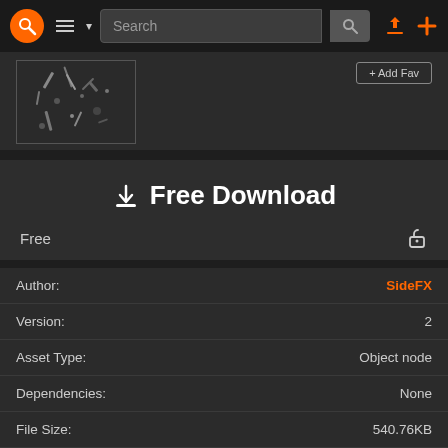[Figure (screenshot): Website navigation bar with logo, hamburger menu, search bar, login and add icons]
[Figure (photo): Thumbnail of a 3D scene with particles/debris on dark background]
+ Add Fav
Free Download
Free
| Field | Value |
| --- | --- |
| Author: | SideFX |
| Version: | 2 |
| Asset Type: | Object node |
| Dependencies: | None |
| File Size: | 540.76KB |
| Created: | Jul 14, 2014 |